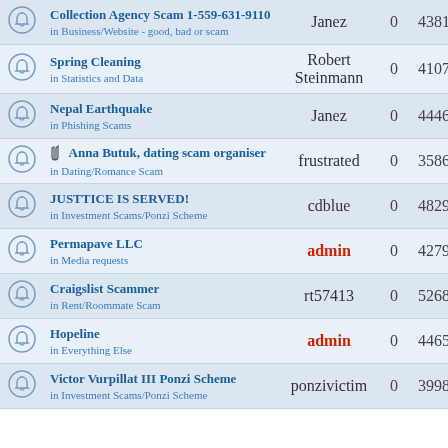|  | Topic | Last Post By | Replies | Views |
| --- | --- | --- | --- | --- |
|  | Collection Agency Scam 1-559-631-9110 in Business/Website - good, bad or scam | Janez | 0 | 4381 |
|  | Spring Cleaning in Statistics and Data | Robert Steinmann | 0 | 4107 |
|  | Nepal Earthquake in Phishing Scams | Janez | 0 | 4446 |
|  | Anna Butuk, dating scam organiser in Dating/Romance Scam | frustrated | 0 | 3586 |
|  | JUSTTICE IS SERVED! in Investment Scams/Ponzi Scheme | cdblue | 0 | 4829 |
|  | Permapave LLC in Media requests | admin | 0 | 4279 |
|  | Craigslist Scammer in Rent/Roommate Scam | rt57413 | 0 | 5268 |
|  | Hopeline in Everything Else | admin | 0 | 4465 |
|  | Victor Vurpillat III Ponzi Scheme in Investment Scams/Ponzi Scheme | ponzivictim | 0 | 3998 |